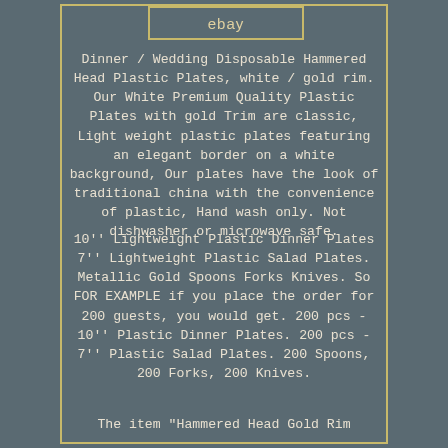[Figure (logo): eBay logo in a rounded rectangle border]
Dinner / Wedding Disposable Hammered Head Plastic Plates, white / gold rim. Our White Premium Quality Plastic Plates with gold Trim are classic, Light weight plastic plates featuring an elegant border on a white background, Our plates have the look of traditional china with the convenience of plastic, Hand wash only. Not dishwasher or microwave safe.
10'' Lightweight Plastic Dinner Plates 7'' Lightweight Plastic Salad Plates. Metallic Gold Spoons Forks Knives. So FOR EXAMPLE if you place the order for 200 guests, you would get. 200 pcs - 10'' Plastic Dinner Plates. 200 pcs - 7'' Plastic Salad Plates. 200 Spoons, 200 Forks, 200 Knives.
The item "Hammered Head Gold Rim